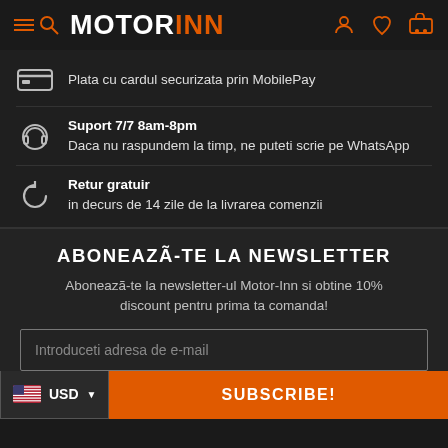MOTORINN
Plata cu cardul securizata prin MobilePay
Suport 7/7 8am-8pm
Daca nu raspundem la timp, ne puteti scrie pe WhatsApp
Retur gratuir
in decurs de 14 zile de la livrarea comenzii
ABONEAZÃ-TE LA NEWSLETTER
Aboneazã-te la newsletter-ul Motor-Inn si obtine 10% discount pentru prima ta comanda!
Introduceti adresa de e-mail
USD
SUBSCRIBE!